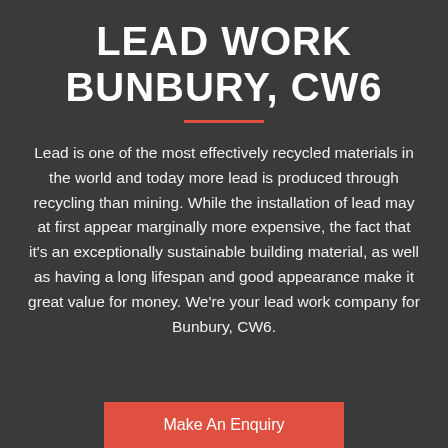LEAD WORK BUNBURY, CW6
Lead is one of the most effectively recycled materials in the world and today more lead is produced through recycling than mining. While the installation of lead may at first appear marginally more expensive, the fact that it's an exceptionally sustainable building material, as well as having a long lifespan and good appearance make it great value for money. We're your lead work company for Bunbury, CW6.
Make An Enquiry